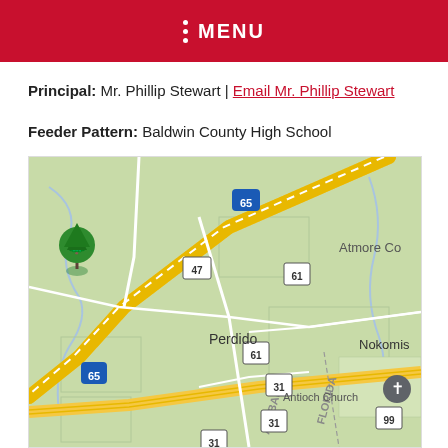MENU
Principal: Mr. Phillip Stewart | Email Mr. Phillip Stewart
Feeder Pattern: Baldwin County High School
[Figure (map): Google Maps view showing Perdido, Alabama area with Interstate 65, highways 47, 61, 31, and landmarks including Antioch Church, Nokomis, and Atmore Co. A green tree location pin and a church pin are visible.]